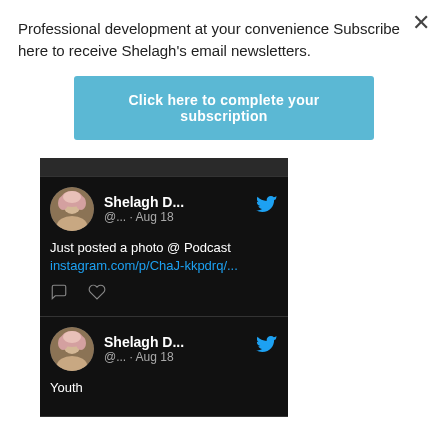Professional development at your convenience Subscribe here to receive Shelagh's email newsletters.
[Figure (screenshot): Blue button with text 'Click here to complete your subscription']
[Figure (screenshot): Twitter/social media widget on dark background showing two tweets by Shelagh D... dated Aug 18. First tweet: 'Just posted a photo @ Podcast instagram.com/p/ChaJ-kkpdrq/...' with comment and like icons. Second tweet begins with 'Youth'.]